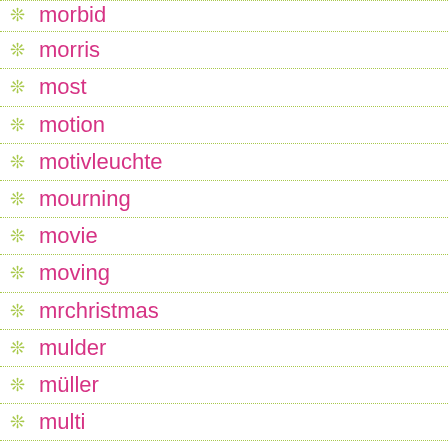morbid
morris
most
motion
motivleuchte
mourning
movie
moving
mrchristmas
mulder
müller
multi
multi-action